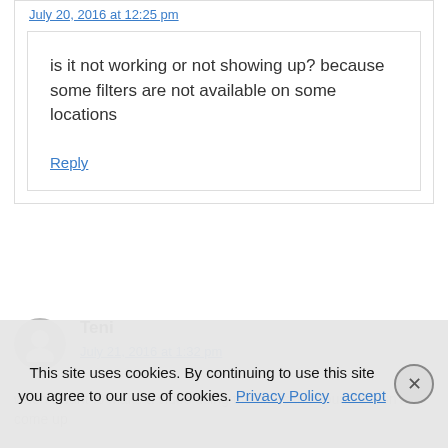July 20, 2016 at 12:25 pm
is it not working or not showing up? because some filters are not available on some locations
Reply
Teni
July 21, 2016 at 1:32 pm
when I want to make a video using the filters the sound doesn't come up
This site uses cookies. By continuing to use this site you agree to our use of cookies. Privacy Policy  accept